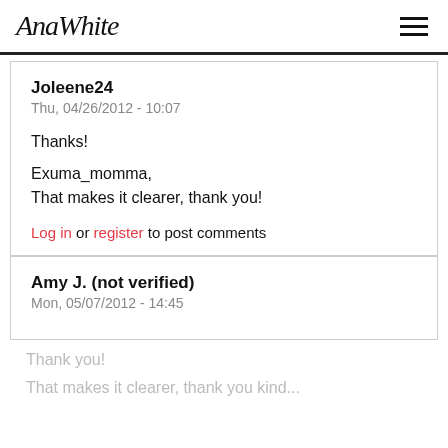AnaWhite
Joleene24
Thu, 04/26/2012 - 10:07
Thanks!

Exuma_momma,
That makes it clearer, thank you!
Log in or register to post comments
Amy J. (not verified)
Mon, 05/07/2012 - 14:45
Thank you!
That makes it clearer, thank you kind...